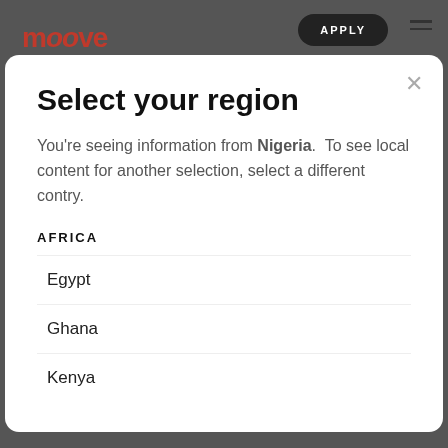[Figure (screenshot): Dark website background showing Moove logo, APPLY button, hamburger menu, and faded large text 'Hello and welcome to our new website!!']
Select your region
You're seeing information from Nigeria. To see local content for another selection, select a different contry.
AFRICA
Egypt
Ghana
Kenya